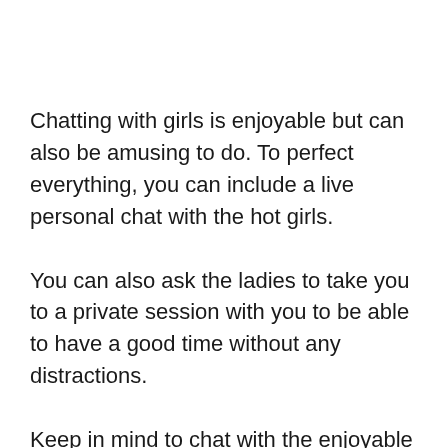Chatting with girls is enjoyable but can also be amusing to do. To perfect everything, you can include a live personal chat with the hot girls.
You can also ask the ladies to take you to a private session with you to be able to have a good time without any distractions.
Keep in mind to chat with the enjoyable and pleasure, since you can miss it once again in the future.